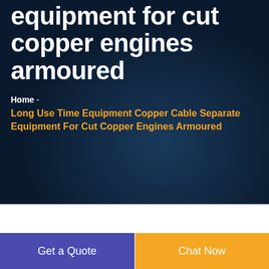equipment for cut copper engines armoured
Home -
Long Use Time Equipment Copper Cable Separate Equipment For Cut Copper Engines Armoured
Get a Quote
Chat Now